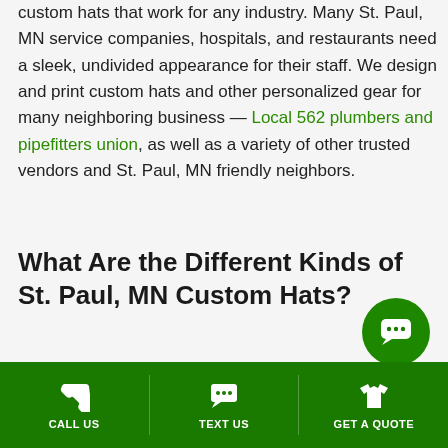custom hats that work for any industry. Many St. Paul, MN service companies, hospitals, and restaurants need a sleek, undivided appearance for their staff. We design and print custom hats and other personalized gear for many neighboring business — Local 562 plumbers and pipefitters union, as well as a variety of other trusted vendors and St. Paul, MN friendly neighbors.
What Are the Different Kinds of St. Paul, MN Custom Hats?
Whether you are following trends or following what you believe is best for your brand in St. Paul, MN, the choice is up to you. Hats have been around forever, and we have seen "fresh" styles and trends come and go and come back...
CALL US   TEXT US   GET A QUOTE